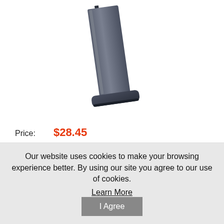[Figure (photo): A dark-colored firearm magazine (gun magazine) standing upright with a base plate at the bottom, photographed against a white background. The magazine is angled slightly.]
Price:  $28.45
Our website uses cookies to make your browsing experience better. By using our site you agree to our use of cookies.
Learn More
I Agree